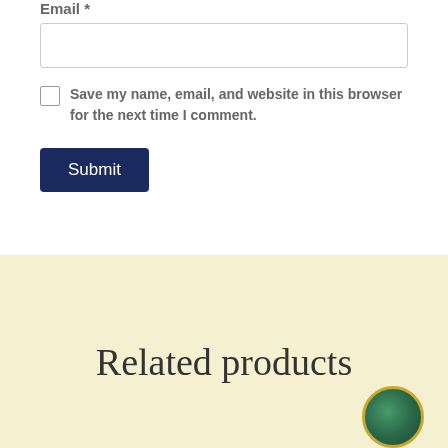Email *
Save my name, email, and website in this browser for the next time I comment.
Submit
Related products